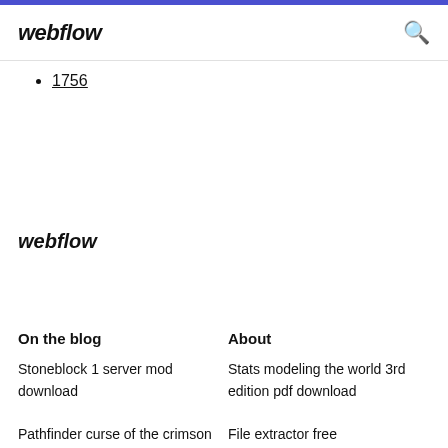webflow  🔍
1756
webflow
On the blog
About
Stoneblock 1 server mod download
Stats modeling the world 3rd edition pdf download
Pathfinder curse of the crimson throne pdf
File extractor free